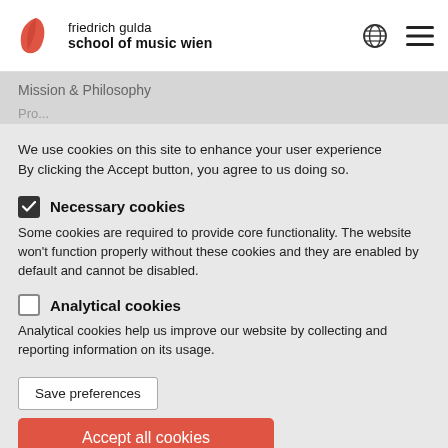friedrich gulda school of music wien
Mission & Philosophy
We use cookies on this site to enhance your user experience By clicking the Accept button, you agree to us doing so.
Necessary cookies
Some cookies are required to provide core functionality. The website won't function properly without these cookies and they are enabled by default and cannot be disabled.
Analytical cookies
Analytical cookies help us improve our website by collecting and reporting information on its usage.
Save preferences
Accept all cookies